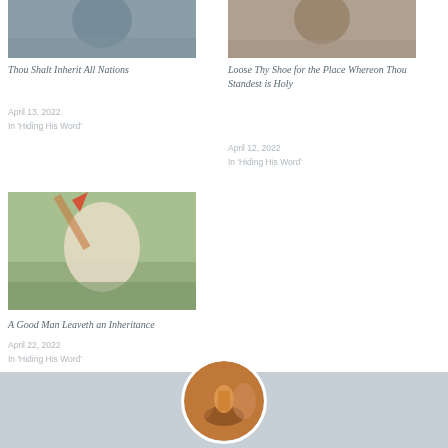[Figure (photo): Partial top image left column - person or landscape photo]
Thou Shalt Inherit All Nations
April 13, 2022
In 'Hiding His Word'
[Figure (photo): Partial top image right column - person photo]
Loose Thy Shoe for the Place Whereon Thou Standest is Holy
April 12, 2022
In 'Hiding His Word'
[Figure (photo): Girl running in a field with a kite, white dress, trees in background]
A Good Man Leaveth an Inheritance
April 22, 2022
In 'Hiding His Word'
[Figure (photo): Circular profile image showing a lantern on the ground at sunset]